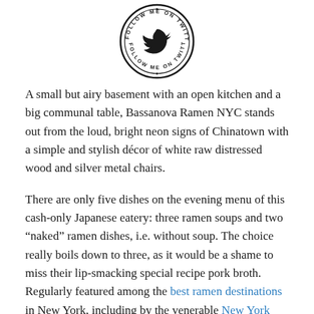[Figure (logo): Twitter 'Follow me on Twitter' circular stamp badge with bird icon in center]
A small but airy basement with an open kitchen and a big communal table, Bassanova Ramen NYC stands out from the loud, bright neon signs of Chinatown with a simple and stylish décor of white raw distressed wood and silver metal chairs.
There are only five dishes on the evening menu of this cash-only Japanese eatery: three ramen soups and two “naked” ramen dishes, i.e. without soup. The choice really boils down to three, as it would be a shame to miss their lip-smacking special recipe pork broth. Regularly featured among the best ramen destinations in New York, including by the venerable New York Times, this unpretentious place